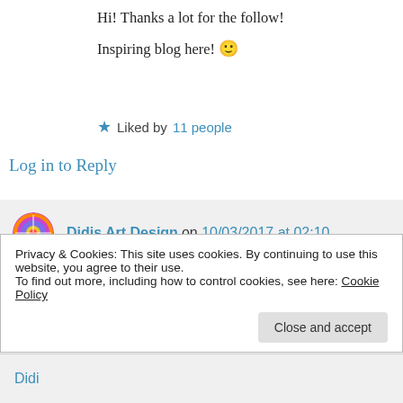Hi! Thanks a lot for the follow!
Inspiring blog here! 🙂
★ Liked by 11 people
Log in to Reply
Didis Art Design on 10/03/2017 at 02:10
👍 0 👎 0 ℹ Rate This
Thank you, too dear friend and all the best
Privacy & Cookies: This site uses cookies. By continuing to use this website, you agree to their use.
To find out more, including how to control cookies, see here: Cookie Policy
Close and accept
Didi